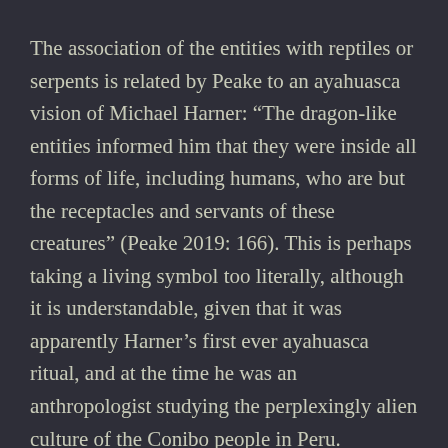The association of the entities with reptiles or serpents is related by Peake to an ayahuasca vision of Michael Harner: “The dragon-like entities informed him that they were inside all forms of life, including humans, who are but the receptacles and servants of these creatures” (Peake 2019: 166). This is perhaps taking a living symbol too literally, although it is understandable, given that it was apparently Harner’s first ever ayahuasca ritual, and at the time he was an anthropologist studying the perplexingly alien culture of the Conibo people in Peru.
Compare the conclusions Harner draws from